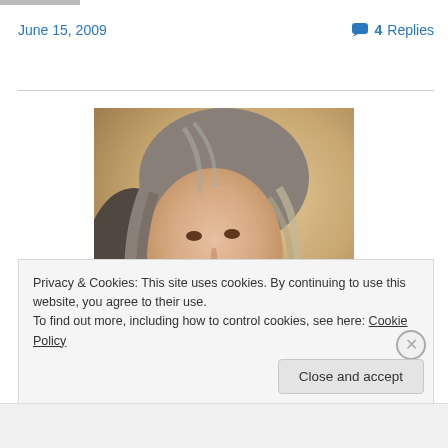June 15, 2009
4 Replies
[Figure (photo): Portrait photo of a woman with wavy gray-brown hair, smiling, taken indoors]
Privacy & Cookies: This site uses cookies. By continuing to use this website, you agree to their use.
To find out more, including how to control cookies, see here: Cookie Policy
Close and accept